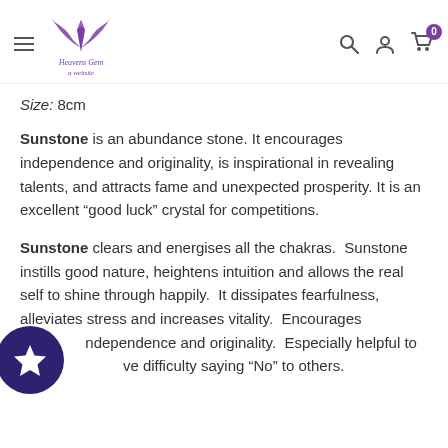Heavens Gem — navigation header with logo, hamburger menu, search, account, and cart icons
Size: 8cm
Sunstone is an abundance stone. It encourages independence and originality, is inspirational in revealing talents, and attracts fame and unexpected prosperity. It is an excellent “good luck” crystal for competitions.
Sunstone clears and energises all the chakras. Sunstone instills good nature, heightens intuition and allows the real self to shine through happily. It dissipates fearfulness, alleviates stress and increases vitality. Encourages independence and originality. Especially helpful to those who have difficulty saying “No” to others.